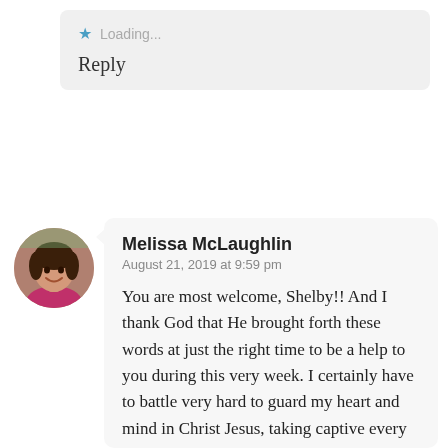Loading...
Reply
[Figure (photo): Round avatar photo of Melissa McLaughlin, a woman smiling]
Melissa McLaughlin
August 21, 2019 at 9:59 pm
You are most welcome, Shelby!! And I thank God that He brought forth these words at just the right time to be a help to you during this very week. I certainly have to battle very hard to guard my heart and mind in Christ Jesus, taking captive every thought to make it obedient to Christ – or my mind can run headlong into